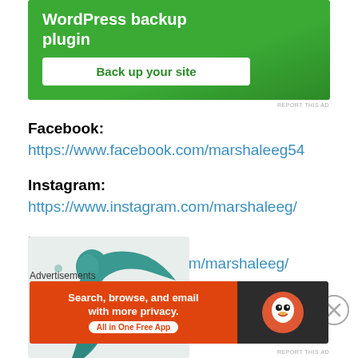[Figure (screenshot): Green WordPress backup plugin advertisement banner with white 'Back up your site' button]
Facebook: https://www.facebook.com/marshaleeg54
Instagram: https://www.instagram.com/marshaleeg/
Pinterest: https://www.pinterest.com/marshaleeg/
[Figure (illustration): Teal/green illustration of a mermaid or woman with flowing hair and bubbles on light background]
Advertisements
[Figure (screenshot): DuckDuckGo advertisement: 'Search, browse, and email with more privacy. All in One Free App' on orange background with DuckDuckGo logo on dark background]